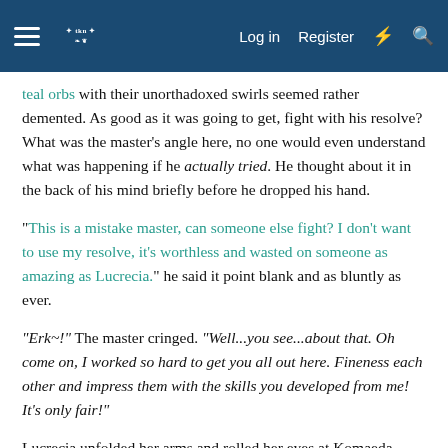≡ [logo] Log in  Register  ⚡ 🔍
teal orbs with their unorthadoxed swirls seemed rather demented. As good as it was going to get, fight with his resolve? What was the master's angle here, no one would even understand what was happening if he actually tried. He thought about it in the back of his mind briefly before he dropped his hand.
"This is a mistake master, can someone else fight? I don't want to use my resolve, it's worthless and wasted on someone as amazing as Lucrecia." he said it point blank and as bluntly as ever.
"Erk~!" The master cringed. "Well...you see...about that. Oh come on, I worked so hard to get you all out here. Fineness each other and impress them with the skills you developed from me! It's only fair!"
Lucrecia unfolded her arms and rolled her eyes at Komaeda before taking position. She was the daughter of a military commander, her tact and poise where far from abysmal. This rag tag shenanigan starter needed to be ironed out and fall in line with everyone else. She snorted